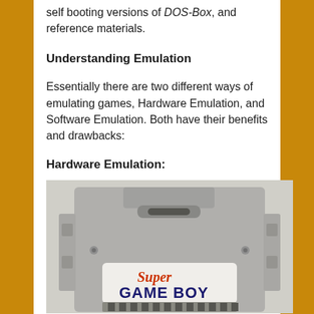self booting versions of DOS-Box, and reference materials.
Understanding Emulation
Essentially there are two different ways of emulating games, Hardware Emulation, and Software Emulation. Both have their benefits and drawbacks:
Hardware Emulation:
[Figure (photo): Photo of a Super Game Boy cartridge for the SNES/Super Nintendo — a grey plastic cartridge with 'Super GAME BOY' branding on the label, showing the cartridge from the front with connector pins at the bottom.]